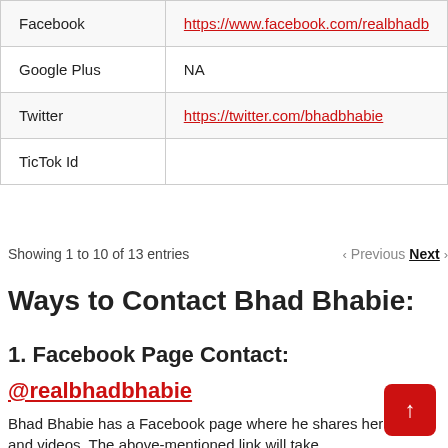| Platform | Link |
| --- | --- |
| Facebook | https://www.facebook.com/realbhadb… |
| Google Plus | NA |
| Twitter | https://twitter.com/bhadbhabie |
| TicTok Id |  |
Showing 1 to 10 of 13 entries   ‹ Previous  Next ›
Ways to Contact Bhad Bhabie:
1. Facebook Page Contact:
@realbhadbhabie
Bhad Bhabie has a Facebook page where he shares her photos and videos. The above-mentioned link will take